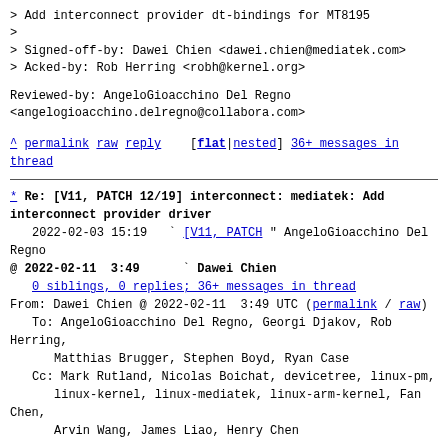> Add interconnect provider dt-bindings for MT8195
>
> Signed-off-by: Dawei Chien <dawei.chien@mediatek.com>
> Acked-by: Rob Herring <robh@kernel.org>
Reviewed-by: AngeloGioacchino Del Regno
<angelogioacchino.delregno@collabora.com>
^ permalink raw reply   [flat|nested] 36+ messages in thread
* Re: [V11, PATCH 12/19] interconnect: mediatek: Add interconnect provider driver
  2022-02-03 15:19   ` [V11, PATCH " AngeloGioacchino Del Regno
@ 2022-02-11  3:49     ` Dawei Chien
  0 siblings, 0 replies; 36+ messages in thread
From: Dawei Chien @ 2022-02-11  3:49 UTC (permalink / raw)
   To: AngeloGioacchino Del Regno, Georgi Djakov, Rob Herring,
           Matthias Brugger, Stephen Boyd, Ryan Case
   Cc: Mark Rutland, Nicolas Boichat, devicetree, linux-pm,
           linux-kernel, linux-mediatek, linux-arm-kernel, Fan Chen,
           Arvin Wang, James Liao, Henry Chen